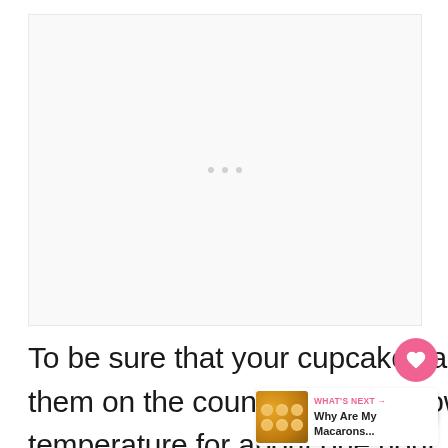[Figure (photo): Blank/white image placeholder area with three small gray dots in the center]
To be sure that your cupcakes are completely cooled, leave them on the countertop and allow them to cool to room temperature for about one hour.